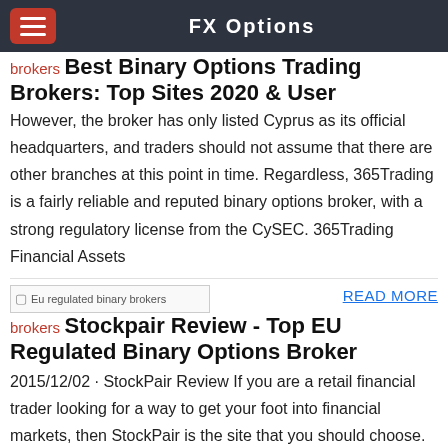FX Options
brokers
Best Binary Options Trading Brokers: Top Sites 2020 & User
However, the broker has only listed Cyprus as its official headquarters, and traders should not assume that there are other branches at this point in time. Regardless, 365Trading is a fairly reliable and reputed binary options broker, with a strong regulatory license from the CySEC. 365Trading Financial Assets
[Figure (other): Broken image placeholder for Eu regulated binary brokers]
READ MORE
brokers
Stockpair Review - Top EU Regulated Binary Options Broker
2015/12/02 · StockPair Review If you are a retail financial trader looking for a way to get your foot into financial markets, then StockPair is the site that you should choose. As a CFD / Forexs broker, this site features a large number of pair options, and is actually responsible for introducing the entire pair trading concept